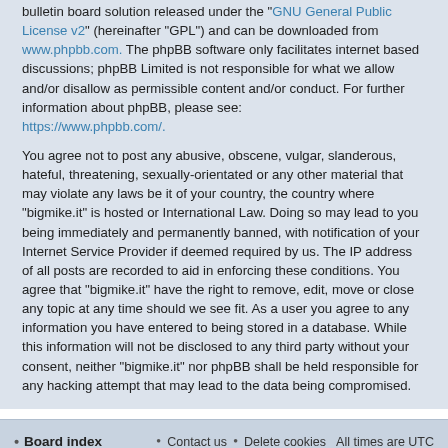bulletin board solution released under the "GNU General Public License v2" (hereinafter "GPL") and can be downloaded from www.phpbb.com. The phpBB software only facilitates internet based discussions; phpBB Limited is not responsible for what we allow and/or disallow as permissible content and/or conduct. For further information about phpBB, please see: https://www.phpbb.com/.
You agree not to post any abusive, obscene, vulgar, slanderous, hateful, threatening, sexually-orientated or any other material that may violate any laws be it of your country, the country where “bigmike.it” is hosted or International Law. Doing so may lead to you being immediately and permanently banned, with notification of your Internet Service Provider if deemed required by us. The IP address of all posts are recorded to aid in enforcing these conditions. You agree that “bigmike.it” have the right to remove, edit, move or close any topic at any time should we see fit. As a user you agree to any information you have entered to being stored in a database. While this information will not be disclosed to any third party without your consent, neither “bigmike.it” nor phpBB shall be held responsible for any hacking attempt that may lead to the data being compromised.
Board index | Contact us | Delete cookies | All times are UTC
Powered by phpBB® Forum Software © phpBB Limited | Privacy | Terms